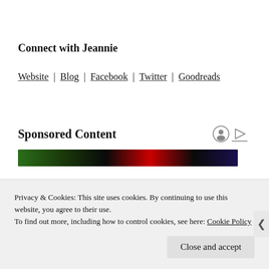Connect with Jeannie
Website | Blog | Facebook | Twitter | Goodreads
Sponsored Content
[Figure (photo): Dark banner image with green and red elements, Marvel branding visible]
Privacy & Cookies: This site uses cookies. By continuing to use this website, you agree to their use.
To find out more, including how to control cookies, see here: Cookie Policy
Close and accept